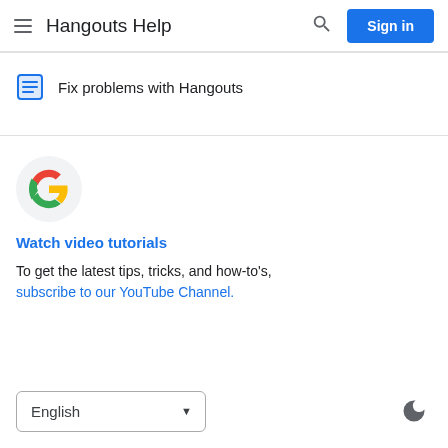Hangouts Help
Fix problems with Hangouts
[Figure (logo): Google G logo in a light grey circle]
Watch video tutorials
To get the latest tips, tricks, and how-to's, subscribe to our YouTube Channel.
English (language selector dropdown)